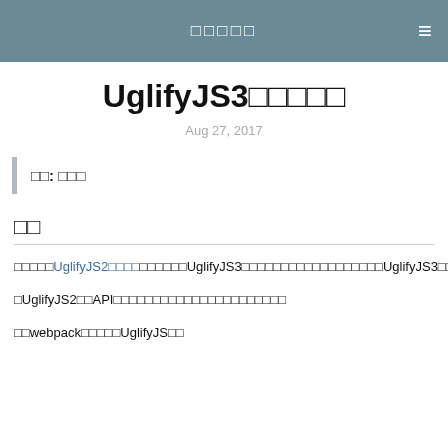□□□□□
UglifyJS3□□□□□
Aug 27, 2017
□□: □□□
□□
□□□□□UglifyJS2□□□□□□□□□□UglifyJS3□□□□□□□□□□□□□□□□□□UglifyJS3□□□□
□UglifyJS2□□API□□□□□□□□□□□□□□□□□□□□□□
□□webpack□□□□□UglifyJS□□